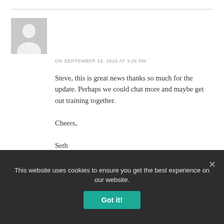[Figure (illustration): Gray placeholder avatar silhouette image]
ON SEPTEMBER 15, 2018 AT 3:26 PM
Steve, this is great news thanks so much for the update. Perhaps we could chat more and maybe get out training together.

Cheers,

Seth
Viewing 2 replies - 1 through 2 (of 2 total)
This website uses cookies to ensure you get the best experience on our website.